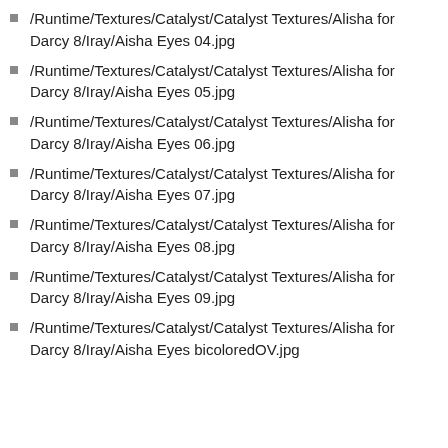/Runtime/Textures/Catalyst/Catalyst Textures/Alisha for Darcy 8/Iray/Aisha Eyes 04.jpg
/Runtime/Textures/Catalyst/Catalyst Textures/Alisha for Darcy 8/Iray/Aisha Eyes 05.jpg
/Runtime/Textures/Catalyst/Catalyst Textures/Alisha for Darcy 8/Iray/Aisha Eyes 06.jpg
/Runtime/Textures/Catalyst/Catalyst Textures/Alisha for Darcy 8/Iray/Aisha Eyes 07.jpg
/Runtime/Textures/Catalyst/Catalyst Textures/Alisha for Darcy 8/Iray/Aisha Eyes 08.jpg
/Runtime/Textures/Catalyst/Catalyst Textures/Alisha for Darcy 8/Iray/Aisha Eyes 09.jpg
/Runtime/Textures/Catalyst/Catalyst Textures/Alisha for Darcy 8/Iray/Aisha Eyes bicoloredOV.jpg